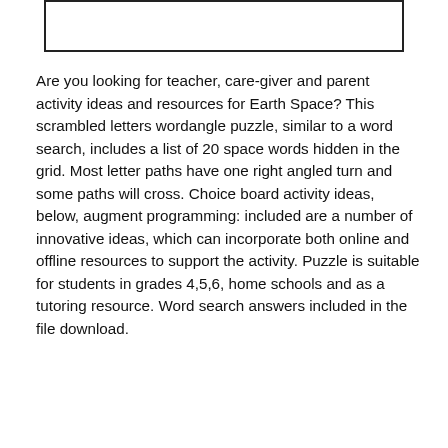[Figure (other): A bordered rectangular box at the top of the page, partially visible, with faint text inside (URL or label, partially cut off).]
Are you looking for teacher, care-giver and parent activity ideas and resources for Earth Space? This scrambled letters wordangle puzzle, similar to a word search, includes a list of 20 space words hidden in the grid. Most letter paths have one right angled turn and some paths will cross. Choice board activity ideas, below, augment programming: included are a number of innovative ideas, which can incorporate both online and offline resources to support the activity. Puzzle is suitable for students in grades 4,5,6, home schools and as a tutoring resource. Word search answers included in the file download.